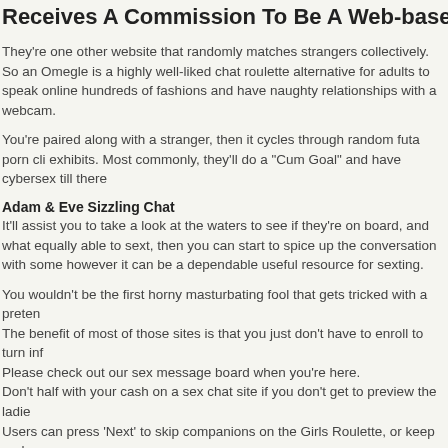Receives A Commission To Be A Web-based Pa
They're one other website that randomly matches strangers collectively. So an Omegle is a highly well-liked chat roulette alternative for adults to speak online hundreds of fashions and have naughty relationships with a webcam.
You're paired along with a stranger, then it cycles through random futa porn cli exhibits. Most commonly, they'll do a "Cum Goal" and have cybersex till there
Adam & Eve Sizzling Chat
It'll assist you to take a look at the waters to see if they're on board, and what equally able to sext, then you can start to spice up the conversation with some however it can be a dependable useful resource for sexting.
You wouldn't be the first horny masturbating fool that gets tricked with a preten The benefit of most of those sites is that you just don't have to enroll to turn inf Please check out our sex message board when you're here. Don't half with your cash on a sex chat site if you don't get to preview the ladie Users can press 'Next' to skip companions on the Girls Roulette, or keep and e live video streams. Chat sites are a good way of forming new relationships, wh love of your life. And within the modern world you do not precisely have to step depart it. And there are sufficient performers on-line to the purpose the place y
Chatib
Something about mentioning that on the homepage makes the presence of ad whether or not you would possibly be into furries, nymphs, saunas, or whateve Palace. Once you are in the chat room, there are such a lot of enjoyable optio